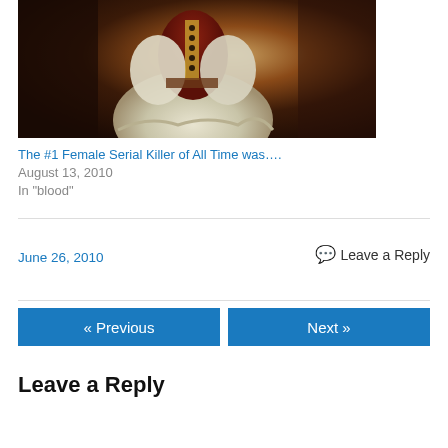[Figure (photo): Partial view of a classical oil painting showing a figure in historical dress with white garments and dark background]
The #1 Female Serial Killer of All Time was….
August 13, 2010
In "blood"
June 26, 2010
💬 Leave a Reply
« Previous
Next »
Leave a Reply